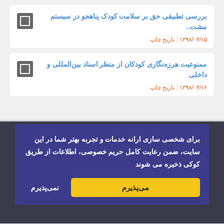بررسی تطبیقی حق بر سلامت کودک پناهجو در سیستم مشت.. | تاریخ چاپ : ۱۳۹۸/۰۴/۱۵
ممنوعیت هرزه‌نگاری کودکان از منظر اسناد بین‌المللی و داخلی | تاریخ چاپ : ۱۳۹۸/۰۴/۱۶
صفحه اصلی
برای شخصی سازی ارانه خدمات و تجربه بهتر شما در این سایت، ضمن رعایت کامل حریم خصوصی، اطلاعات از طریق کوکی ذخیره می شوند
می‌پذیرم | نمی‌پذیرم